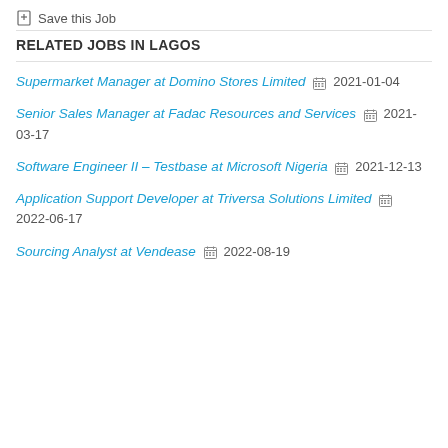Save this Job
RELATED JOBS IN LAGOS
Supermarket Manager at Domino Stores Limited 2021-01-04
Senior Sales Manager at Fadac Resources and Services 2021-03-17
Software Engineer II – Testbase at Microsoft Nigeria 2021-12-13
Application Support Developer at Triversa Solutions Limited 2022-06-17
Sourcing Analyst at Vendease 2022-08-19